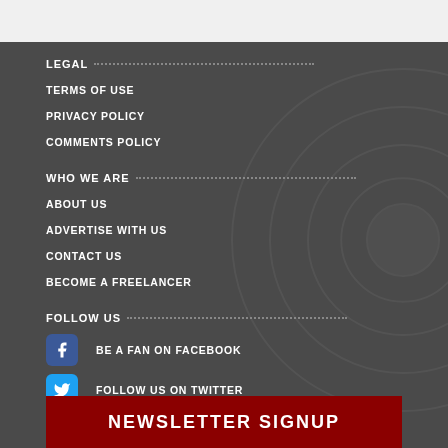LEGAL
TERMS OF USE
PRIVACY POLICY
COMMENTS POLICY
WHO WE ARE
ABOUT US
ADVERTISE WITH US
CONTACT US
BECOME A FREELANCER
FOLLOW US
BE A FAN ON FACEBOOK
FOLLOW US ON TWITTER
FOLLOW US ON INSTAGRAM
NEWSLETTER SIGNUP